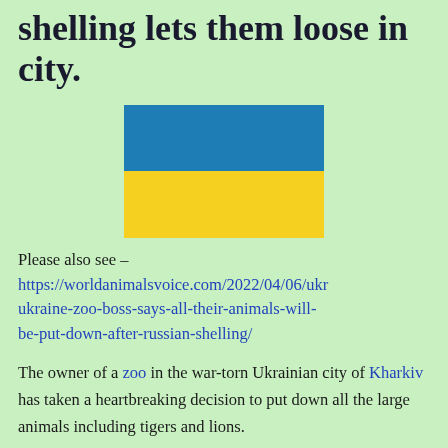shelling lets them loose in city.
[Figure (illustration): Ukrainian flag — blue top half and yellow bottom half rectangle]
Please also see – https://worldanimalsvoice.com/2022/04/06/ukr ukraine-zoo-boss-says-all-their-animals-will-be-put-down-after-russian-shelling/
The owner of a zoo in the war-torn Ukrainian city of Kharkiv has taken a heartbreaking decision to put down all the large animals including tigers and lions.